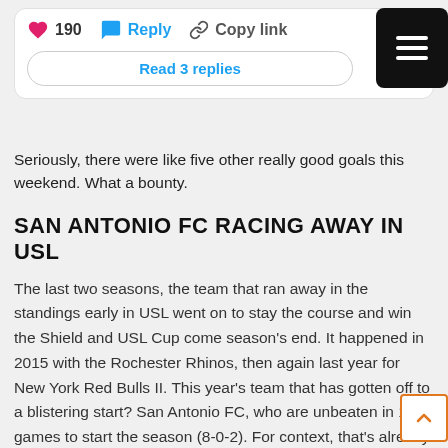[Figure (screenshot): Comment card with interaction buttons: heart icon with count 190, Reply button with speech bubble icon, Copy link button with chain icon, and a Read 3 replies button. A black hamburger menu button is in the top right corner.]
Seriously, there were like five other really good goals this weekend. What a bounty.
SAN ANTONIO FC RACING AWAY IN USL
The last two seasons, the team that ran away in the standings early in USL went on to stay the course and win the Shield and USL Cup come season's end. It happened in 2015 with the Rochester Rhinos, then again last year for New York Red Bulls II. This year's team that has gotten off to a blistering start? San Antonio FC, who are unbeaten in 10 games to start the season (8-0-2). For context, that's already a third of the season, and there are no signs of it letting up, after a 1-0 win over Phoenix Rising FC over the